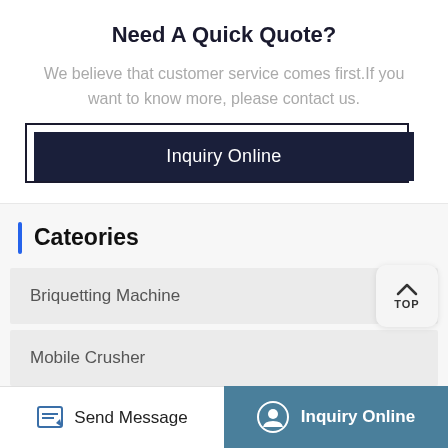Need A Quick Quote?
We believe that customer service comes first.If you want to know more, please contact us.
[Figure (other): Dark navy button labeled 'Inquiry Online' with an offset border shadow effect]
[Figure (other): TOP navigation button with upward arrow]
Cateories
Briquetting Machine
Mobile Crusher
Send Message | Inquiry Online